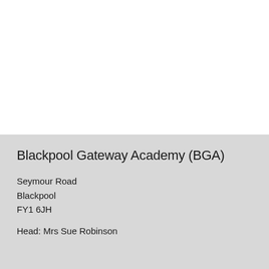Blackpool Gateway Academy (BGA)
Seymour Road
Blackpool
FY1 6JH
Head: Mrs Sue Robinson